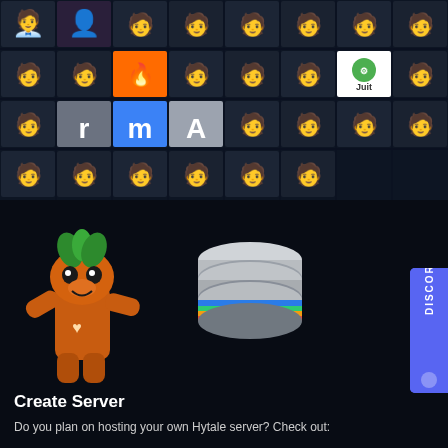[Figure (screenshot): Discord server member avatars grid showing user profile pictures in a 8x4 grid layout. Row 1: various user avatars including a person photo. Row 2: avatars including a fire/flame avatar and a Juit logo. Row 3: avatars with letter icons r, m, A in gray, blue, gray. Row 4: six person emoji avatars.]
[Figure (illustration): Cartoon orange mascot character resembling a fox/Crash Bandicoot-like figure with green leaf on head, standing pose with raised arm]
[Figure (illustration): Stacked server/database icon with colorful stripe layers (blue, green, orange, red) in gray metallic style]
Create Server
Do you plan on hosting your own Hytale server? Check out:
[Figure (screenshot): Discord tab/button on right side with DISCORD text written vertically in purple/indigo color]